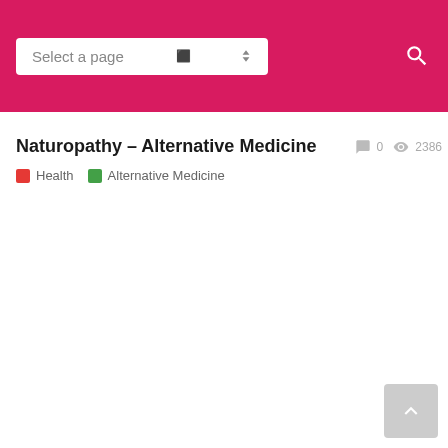[Figure (screenshot): Navigation header bar with pink/crimson background containing a 'Select a page' dropdown and a search icon]
Naturopathy – Alternative Medicine
0   2386
Health
Alternative Medicine
[Figure (other): Back to top button with upward chevron arrow on light gray background]